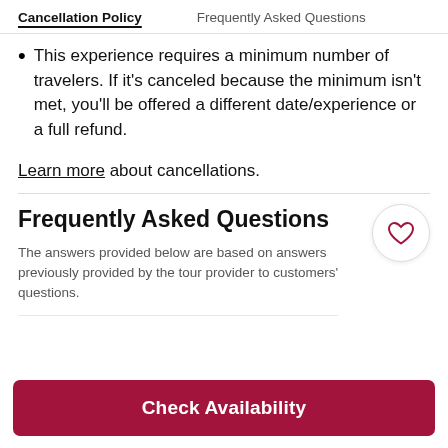Cancellation Policy    Frequently Asked Questions
This experience requires a minimum number of travelers. If it's canceled because the minimum isn't met, you'll be offered a different date/experience or a full refund.
Learn more about cancellations.
Frequently Asked Questions
The answers provided below are based on answers previously provided by the tour provider to customers' questions.
Check Availability